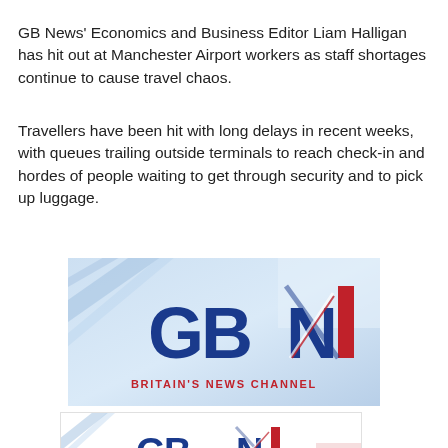GB News' Economics and Business Editor Liam Halligan has hit out at Manchester Airport workers as staff shortages continue to cause travel chaos.
Travellers have been hit with long delays in recent weeks, with queues trailing outside terminals to reach check-in and hordes of people waiting to get through security and to pick up luggage.
[Figure (logo): GB News logo on light blue gradient background with diagonal line accents. Large 'GB' and stylized 'N' with Union Jack motif in dark blue and red. Text below reads 'BRITAIN'S NEWS CHANNEL' in red.]
[Figure (logo): GB News logo smaller version on white background with corner accents. 'GB' and stylized 'N' in dark blue, text 'BRITAIN'S NEWS CHANNEL' in red below.]